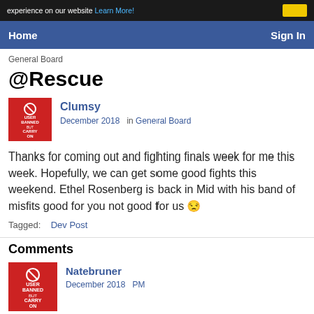experience on our website Learn More!
Home   Sign In
General Board
@Rescue
Clumsy
December 2018   in General Board
Thanks for coming out and fighting finals week for me this week. Hopefully, we can get some good fights this weekend. Ethel Rosenberg is back in Mid with his band of misfits good for you not good for us 😒
Tagged:   Dev Post
Comments
Natebruner
December 2018  PM
...